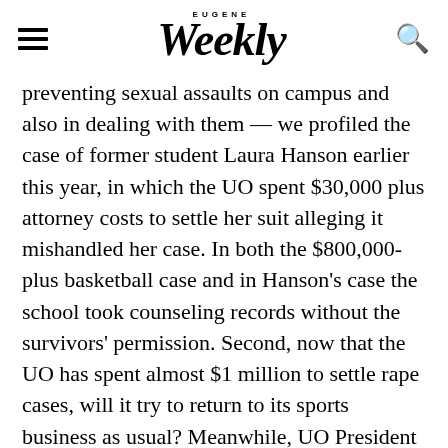Eugene Weekly
preventing sexual assaults on campus and also in dealing with them — we profiled the case of former student Laura Hanson earlier this year, in which the UO spent $30,000 plus attorney costs to settle her suit alleging it mishandled her case. In both the $800,000-plus basketball case and in Hanson's case the school took counseling records without the survivors' permission. Second, now that the UO has spent almost $1 million to settle rape cases, will it try to return to its sports business as usual? Meanwhile, UO President Michael Schill's statement after the recent settlement gives us hope that this public university will be moving